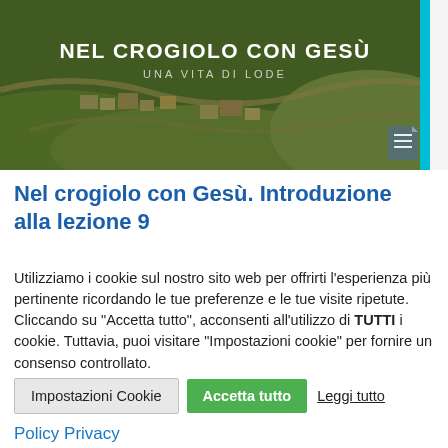[Figure (photo): Aerial photograph of a hillside Italian village with roads, residential buildings, and green fields. Overlaid text reads 'NEL CROGIOLO CON GESÙ' in bold white and 'UNA VITA DI LODE' in lighter white. A cyan vertical bar on the right edge and a document icon in the bottom-right corner of the image.]
Nel crogiolo con Gesù. Introduzione alla lezione 9
Utilizziamo i cookie sul nostro sito web per offrirti l'esperienza più pertinente ricordando le tue preferenze e le tue visite ripetute. Cliccando su "Accetta tutto", acconsenti all'utilizzo di TUTTI i cookie. Tuttavia, puoi visitare "Impostazioni cookie" per fornire un consenso controllato.
Impostazioni Cookie | Accetta tutto | Leggi tutto
Policy Privacy